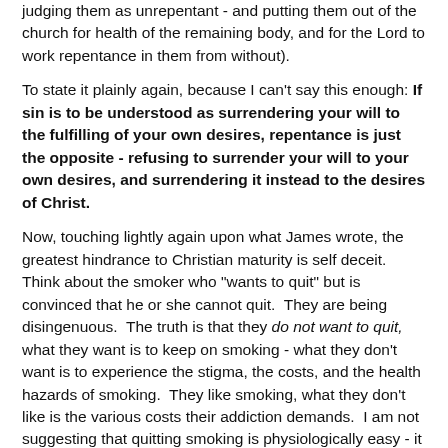judging them as unrepentant - and putting them out of the church for health of the remaining body, and for the Lord to work repentance in them from without).
To state it plainly again, because I can't say this enough: If sin is to be understood as surrendering your will to the fulfilling of your own desires, repentance is just the opposite - refusing to surrender your will to your own desires, and surrendering it instead to the desires of Christ.
Now, touching lightly again upon what James wrote, the greatest hindrance to Christian maturity is self deceit.  Think about the smoker who "wants to quit" but is convinced that he or she cannot quit.  They are being disingenuous.  The truth is that they do not want to quit, what they want is to keep on smoking - what they don't want is to experience the stigma, the costs, and the health hazards of smoking.  They like smoking, what they don't like is the various costs their addiction demands.  I am not suggesting that quitting smoking is physiologically easy - it certainly isn't.  What I am saying is that there is a superficial desire, and there is a soul deep desire, and though they are both aimed in the same